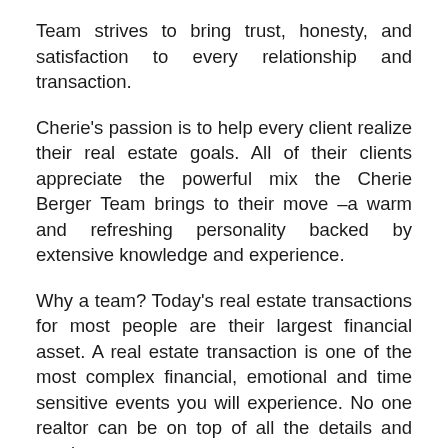Team strives to bring trust, honesty, and satisfaction to every relationship and transaction.
Cherie's passion is to help every client realize their real estate goals. All of their clients appreciate the powerful mix the Cherie Berger Team brings to their move –a warm and refreshing personality backed by extensive knowledge and experience.
Why a team? Today's real estate transactions for most people are their largest financial asset. A real estate transaction is one of the most complex financial, emotional and time sensitive events you will experience. No one realtor can be on top of all the details and moving parts.
Work with the Cherie Berger Team. They promise to make you feel like their only client. Let Cherie's family, help your family today!